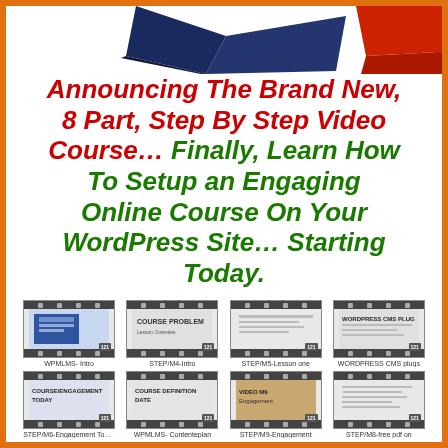[Figure (illustration): Top portion of a product box or book graphic partially visible at the top of the page]
Announcing The Brand New, 8 Part, Step By Step Video Course… Finally, Learn How To Setup an Engaging Online Course On Your WordPress Site… Starting Today.
[Figure (illustration): Grid of 8 video thumbnail images arranged in 2 rows of 4, showing course video modules with film-strip borders. Labels: WPMLMS- Intro, STEP/M4-Intro, STEP/M5-Lesson one, WORDPRESS CMS PLUGS, STEP/M6-Engagement Today, COURSE DEFINITION DATE, VIDEO/M9-Engagement, STEP/M8-free pdf on]